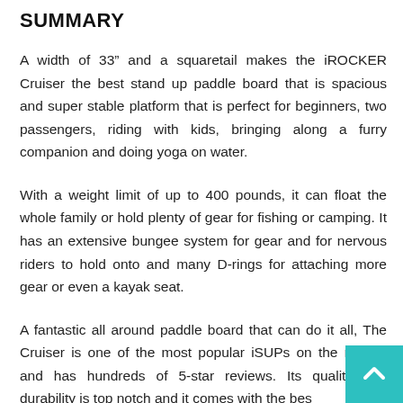SUMMARY
A width of 33” and a squaretail makes the iROCKER Cruiser the best stand up paddle board that is spacious and super stable platform that is perfect for beginners, two passengers, riding with kids, bringing along a furry companion and doing yoga on water.
With a weight limit of up to 400 pounds, it can float the whole family or hold plenty of gear for fishing or camping. It has an extensive bungee system for gear and for nervous riders to hold onto and many D-rings for attaching more gear or even a kayak seat.
A fantastic all around paddle board that can do it all, The Cruiser is one of the most popular iSUPs on the market and has hundreds of 5-star reviews. Its quality and durability is top notch and it comes with the bes